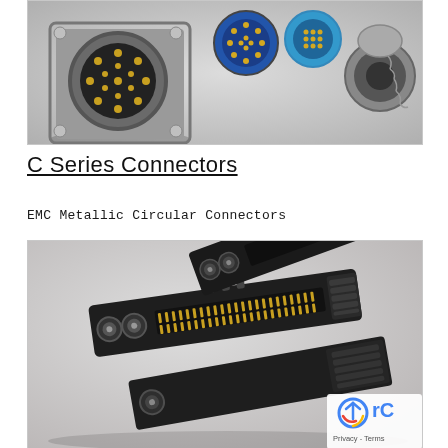[Figure (photo): Product photo of circular metallic connectors — a large square-flange panel mount connector with gold pins visible (front-left), two smaller blue/silver circular connectors with gold pins (center), and a circular connector with protective cap on chain (right), all on a light gray background.]
C Series Connectors
EMC Metallic Circular Connectors
[Figure (photo): Product photo of rectangular EMC metallic connectors — multiple black rectangular multi-pin connector housings with gold contact pins visible, arranged at angles. Connectors appear to have circular coaxial contacts at ends and rectangular pin arrays along the body. A reCAPTCHA privacy badge is overlaid in the bottom-right corner.]